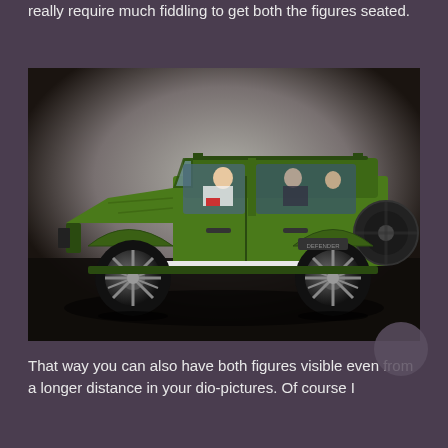really require much fiddling to get both the figures seated.
[Figure (photo): Side view of a green Land Rover Defender toy/model with seated figures visible through windows, photographed against a dark background.]
That way you can also have both figures visible even from a longer distance in your dio-pictures. Of course I